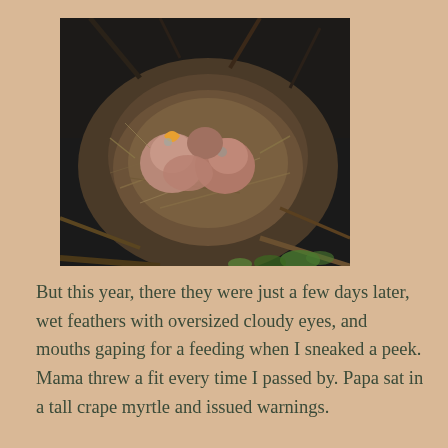[Figure (photo): A bird's nest containing several baby birds (chicks) with sparse feathers and open beaks, nestled in a round nest made of twigs and grass, surrounded by branches and green leaves.]
But this year, there they were just a few days later, wet feathers with oversized cloudy eyes, and mouths gaping for a feeding when I sneaked a peek. Mama threw a fit every time I passed by. Papa sat in a tall crape myrtle and issued warnings.